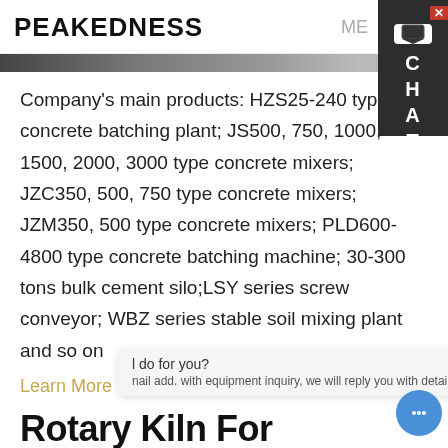PEAKEDNESS
[Figure (photo): Partial top edge of a product/facility photo strip]
Company's main products: HZS25-240 type concrete batching plant; JS500, 750, 1000, 1500, 2000, 3000 type concrete mixers; JZC350, 500, 750 type concrete mixers; JZM350, 500 type concrete mixers; PLD600-4800 type concrete batching machine; 30-300 tons bulk cement silo;LSY series screw conveyor; WBZ series stable soil mixing plant and so on
Learn More
Rotary Kiln For Metallurgy In India